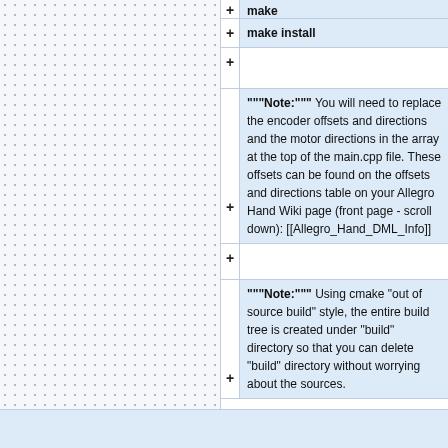make
+ make install
+
"""Note:""" You will need to replace the encoder offsets and directions and the motor directions in the array at the top of the main.cpp file. These offsets can be found on the offsets and directions table on your Allegro Hand Wiki page (front page - scroll down): [[Allegro_Hand_DML_Info]]
+
"""Note:""" Using cmake "out of source build" style, the entire build tree is created under "build" directory so that you can delete "build" directory without worrying about the sources.